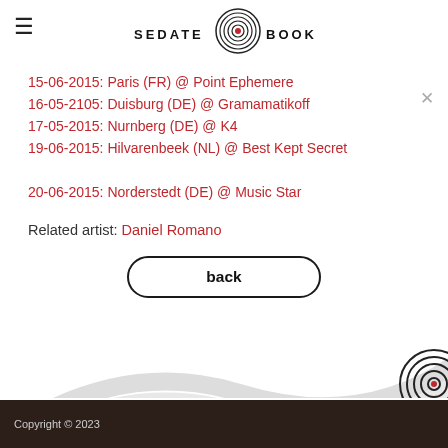SEDATE BOOKINGS
15-06-2015: Paris (FR) @ Point Ephemere
16-05-2105: Duisburg (DE) @ Gramamatikoff
17-05-2015: Nurnberg (DE) @ K4
19-06-2015: Hilvarenbeek (NL) @ Best Kept Secret
20-06-2015: Norderstedt (DE) @ Music Star
Related artist: Daniel Romano
back
Copyright © 2023